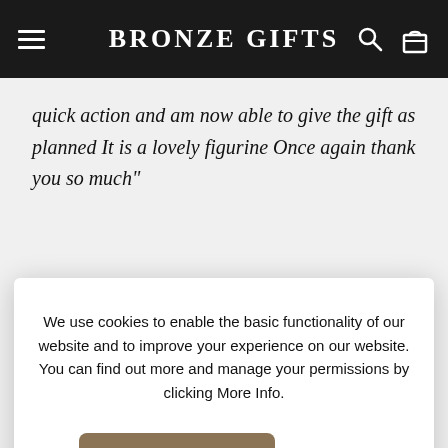Bronze Gifts
quick action and am now able to give the gift as planned It is a lovely figurine Once again thank you so much"
We use cookies to enable the basic functionality of our website and to improve your experience on our website. You can find out more and manage your permissions by clicking More Info.
YES, THAT'S OK
More Info